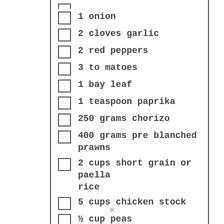1 onion
2 cloves garlic
2 red peppers
3 to matoes
1 bay leaf
1 teaspoon paprika
250 grams chorizo
400 grams pre blanched prawns
2 cups short grain or paella rice
5 cups chicken stock
½ cup peas